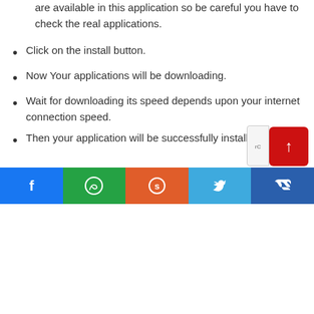are available in this application so be careful you have to check the real applications.
Click on the install button.
Now Your applications will be downloading.
Wait for downloading its speed depends upon your internet connection speed.
Then your application will be successfully installed.
Read more:-
Popcorn Time – Everything You Need To Know
Social share bar: Facebook, WhatsApp, Reddit, Twitter, VK